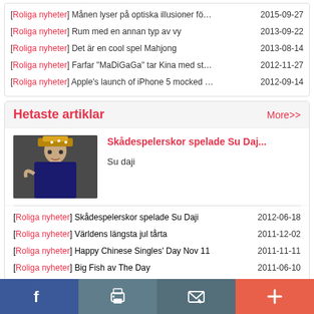[Roliga nyheter] Månen lyser på optiska illusioner fö… 2015-09-27
[Roliga nyheter] Rum med en annan typ av vy 2013-09-22
[Roliga nyheter] Det är en cool spel Mahjong 2013-08-14
[Roliga nyheter] Farfar "MaDiGaGa" tar Kina med st… 2012-11-27
[Roliga nyheter] Apple's launch of iPhone 5 mocked … 2012-09-14
Hetaste artiklar
[Figure (photo): A performer in traditional Chinese opera costume and makeup]
Skådespelerskor spelade Su Daj...
Su daji
[Roliga nyheter] Skådespelerskor spelade Su Daji 2012-06-18
[Roliga nyheter] Världens längsta jul tårta 2011-12-02
[Roliga nyheter] Happy Chinese Singles' Day Nov 11 2011-11-11
[Roliga nyheter] Big Fish av The Day 2011-06-10
[Roliga nyheter] China's Got Talent 2011 2011-07-12